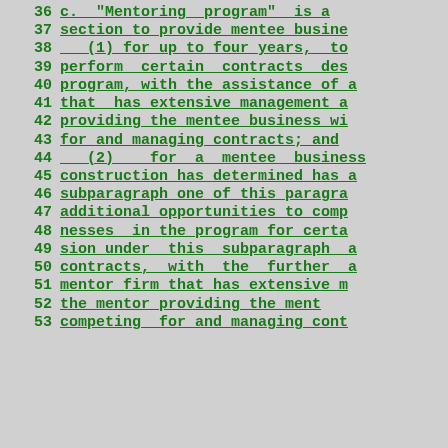36  c.  "Mentoring  program"  is a
37  section to provide mentee busine
38  (1) for up to four years,  to
39  perform  certain  contracts  des
40  program, with the assistance of a
41  that  has extensive management a
42  providing the mentee business wi
43  for and managing contracts; and
44  (2)   for  a  mentee  business
45  construction has determined has a
46  subparagraph one of this paragra
47  additional opportunities to comp
48  nesses  in the  program for certa
49  sion under  this  subparagraph  a
50  contracts,  with  the  further  a
51  mentor firm that has extensive m
52  the mentor providing the ment
53  competing  for and managing cont